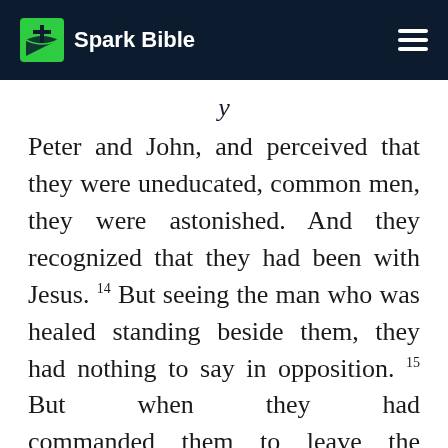Spark Bible
Peter and John, and perceived that they were uneducated, common men, they were astonished. And they recognized that they had been with Jesus. 14 But seeing the man who was healed standing beside them, they had nothing to say in opposition. 15 But when they had commanded them to leave the council, they conferred with one another. 16 saying, “What shall we do with